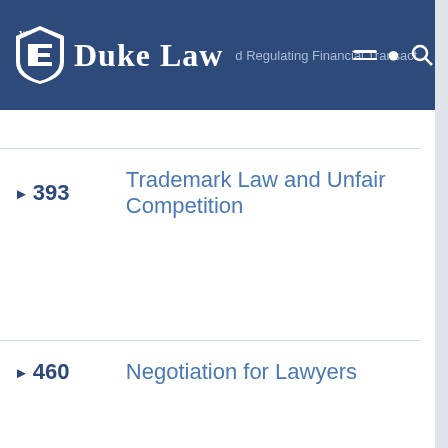Duke Law — Analyzing and Regulating Financial Transactions
393 Trademark Law and Unfair Competition
460 Negotiation for Lawyers